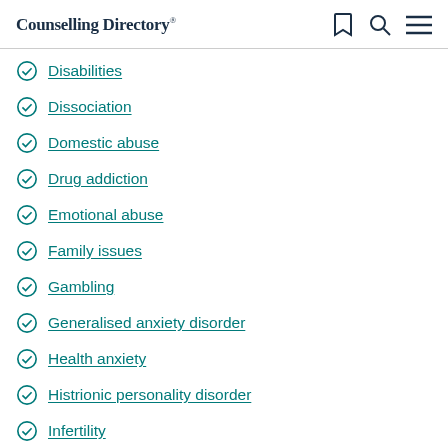Counselling Directory
Disabilities
Dissociation
Domestic abuse
Drug addiction
Emotional abuse
Family issues
Gambling
Generalised anxiety disorder
Health anxiety
Histrionic personality disorder
Infertility